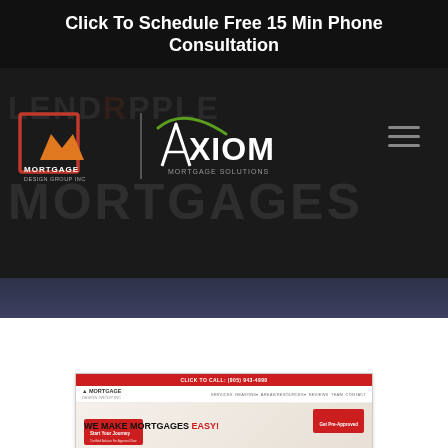Click To Schedule Free 15 Min Phone Consultation
[Figure (screenshot): Mortgage Design Group / Axiom Mortgage Solutions website screenshot showing navigation header with company logos, hamburger menu, and a hero section with text 'WE MAKE MORTGAGES EASY!' with a red CTA button. Watermark text reads 'LENDERPPLE MORTGAGES' in background.]
[Figure (screenshot): Smaller screenshot thumbnail of Mortgage Design Group website showing red top bar with phone number, navigation, logo, and 'WE MAKE MORTGAGES EASY!' hero section with red Start Your Journey button and Get Pre-Approved button.]